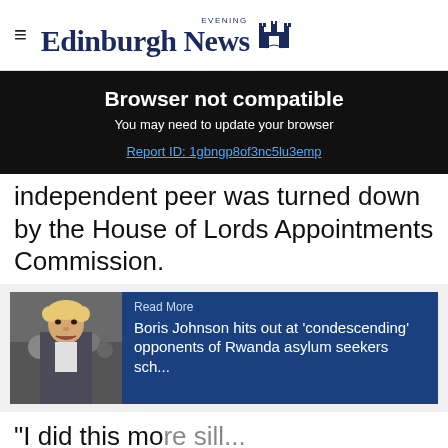Edinburgh Evening News
Browser not compatible
You may need to update your browser
Report ID: 1gbngp8of3nc5lu3emp
independent peer was turned down by the House of Lords Appointments Commission.
[Figure (photo): Boris Johnson speaking, with a Read More card overlay on blue background]
Read More
Boris Johnson hits out at 'condescending' opponents of Rwanda asylum seekers sch...
"I did this more sill...